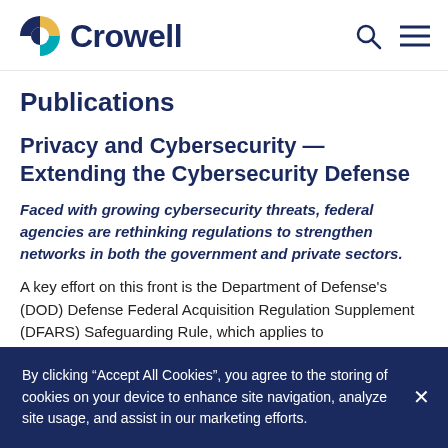[Figure (logo): Crowell law firm logo with circular multi-color icon and bold navy text 'Crowell', with search and menu icons on the right]
Publications
Privacy and Cybersecurity — Extending the Cybersecurity Defense
Faced with growing cybersecurity threats, federal agencies are rethinking regulations to strengthen networks in both the government and private sectors.
A key effort on this front is the Department of Defense's (DOD) Defense Federal Acquisition Regulation Supplement (DFARS) Safeguarding Rule, which applies to
By clicking “Accept All Cookies”, you agree to the storing of cookies on your device to enhance site navigation, analyze site usage, and assist in our marketing efforts.